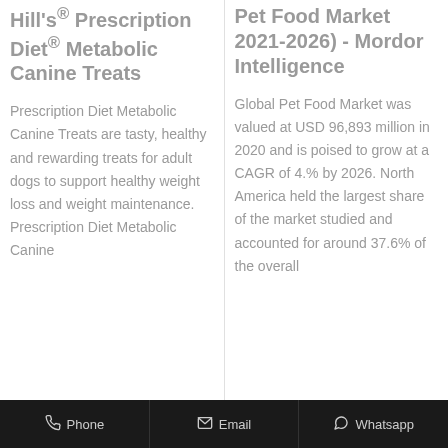Hill's® Prescription Diet® Metabolic Canine Treats
Prescription Diet Metabolic Canine Treats are tasty, healthy and rewarding treats for adult dogs to support healthy weight loss and weight maintenance. Prescription Diet Metabolic Canine
Pet Food Market 2021-2026) - Mordor Intelligence
Global Pet Food Market was valued at USD 96,893 million in 2020 and is poised to grow at a CAGR of 4.% by 2026. North America held the largest share of the market studied and accounted for around 37.6% of the overall
Phone  Email  Whatsapp